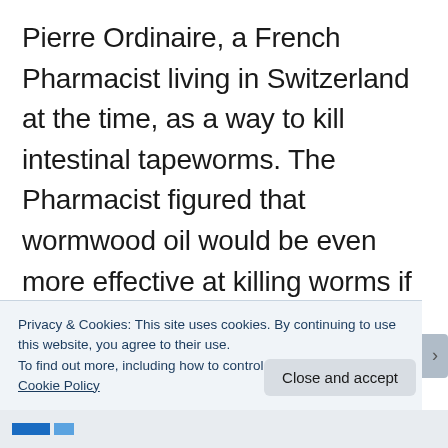Pierre Ordinaire, a French Pharmacist living in Switzerland at the time, as a way to kill intestinal tapeworms. The Pharmacist figured that wormwood oil would be even more effective at killing worms if mixed with super high-proof alcohol. Absinthe would be bottled anywhere from 50 to 75% alcohol. To make it taste better if it was primarily flavored with star anise and
Privacy & Cookies: This site uses cookies. By continuing to use this website, you agree to their use.
To find out more, including how to control cookies, see here: Cookie Policy
Close and accept